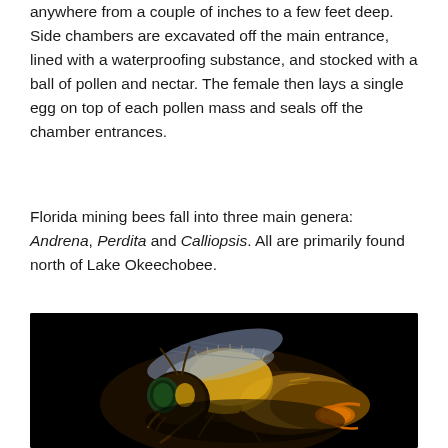anywhere from a couple of inches to a few feet deep. Side chambers are excavated off the main entrance, lined with a waterproofing substance, and stocked with a ball of pollen and nectar. The female then lays a single egg on top of each pollen mass and seals off the chamber entrances.
Florida mining bees fall into three main genera: Andrena, Perdita and Calliopsis. All are primarily found north of Lake Okeechobee.
[Figure (photo): Close-up macro photograph of a mining bee against a black background, showing detailed features including compound eyes, fuzzy yellow and brown body hair, wings, and legs.]